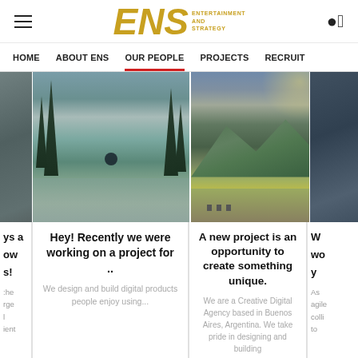ENS ENTERTAINMENT AND STRATEGY
HOME  ABOUT ENS  OUR PEOPLE  PROJECTS  RECRUIT
[Figure (screenshot): Website screenshot showing ENS (Entertainment and Strategy) webpage with navigation bar (Home, About ENS, Our People, Projects, Recruit) and a row of images with article cards below: a lake/figure scene captioned 'Hey! Recently we were working on a project for ..' and a mountain landscape captioned 'A new project is an opportunity to create something unique.']
Hey! Recently we were working on a project for ..
We design and build digital products people enjoy using...
A new project is an opportunity to create something unique.
We are a Creative Digital Agency based in Buenos Aires, Argentina. We take pride in designing and building